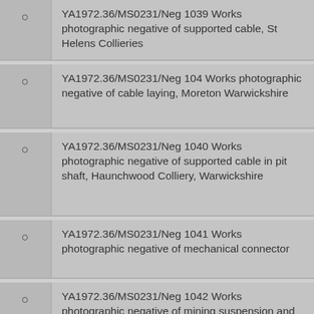YA1972.36/MS0231/Neg 1039 Works photographic negative of supported cable, St Helens Collieries
YA1972.36/MS0231/Neg 104 Works photographic negative of cable laying, Moreton Warwickshire
YA1972.36/MS0231/Neg 1040 Works photographic negative of supported cable in pit shaft, Haunchwood Colliery, Warwickshire
YA1972.36/MS0231/Neg 1041 Works photographic negative of mechanical connector
YA1972.36/MS0231/Neg 1042 Works photographic negative of mining suspension and bifurcating box
YA1972.36/MS0231/Neg 1043 Works...